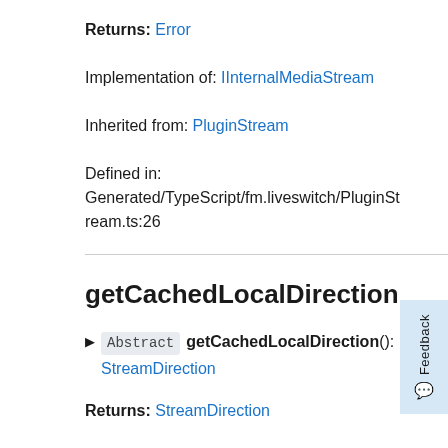Returns: Error
Implementation of: IInternalMediaStream
Inherited from: PluginStream
Defined in: Generated/TypeScript/fm.liveswitch/PluginStream.ts:26
getCachedLocalDirection
▶ Abstract getCachedLocalDirection(): StreamDirection
Returns: StreamDirection
Implementation of: IInternalMediaStream